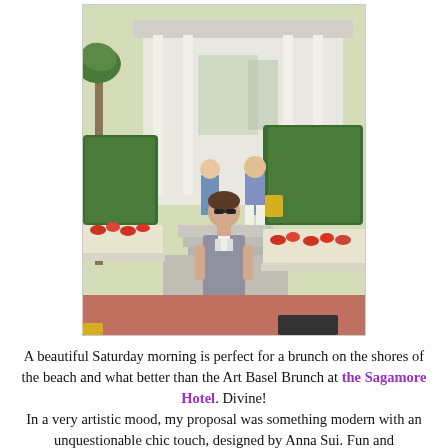[Figure (photo): A woman standing in front of the Sagamore Hotel entrance. She is wearing a gray dress with sunglasses. Behind her are trimmed hedges, orange flowers in planters, palm trees, a white building with columns, and other people in the background. The sidewalk is reddish-pink.]
A beautiful Saturday morning is perfect for a brunch on the shores of the beach and what better than the Art Basel Brunch at the Sagamore Hotel. Divine!
In a very artistic mood, my proposal was something modern with an unquestionable chic touch, designed by Anna Sui. Fun and